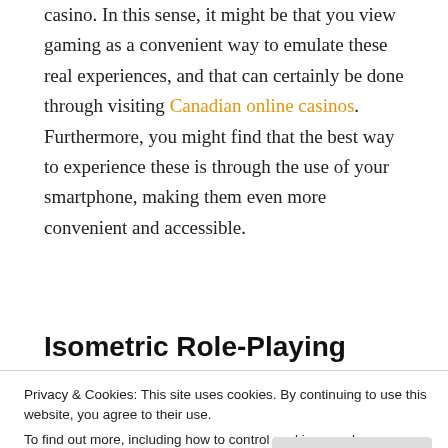casino. In this sense, it might be that you view gaming as a convenient way to emulate these real experiences, and that can certainly be done through visiting Canadian online casinos. Furthermore, you might find that the best way to experience these is through the use of your smartphone, making them even more convenient and accessible.
Isometric Role-Playing Games
Privacy & Cookies: This site uses cookies. By continuing to use this website, you agree to their use. To find out more, including how to control cookies, see here: Cookie Policy
However, because of the popularity of games such